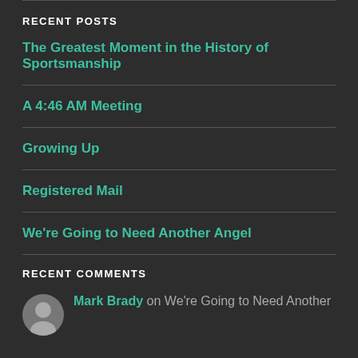RECENT POSTS
The Greatest Moment in the History of Sportsmanship
A 4:46 AM Meeting
Growing Up
Registered Mail
We're Going to Need Another Angel
RECENT COMMENTS
Mark Brady on We're Going to Need Another